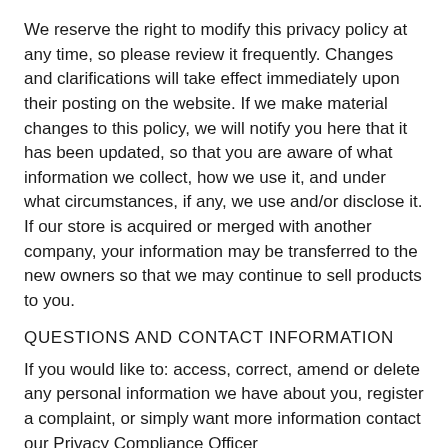We reserve the right to modify this privacy policy at any time, so please review it frequently. Changes and clarifications will take effect immediately upon their posting on the website. If we make material changes to this policy, we will notify you here that it has been updated, so that you are aware of what information we collect, how we use it, and under what circumstances, if any, we use and/or disclose it.
If our store is acquired or merged with another company, your information may be transferred to the new owners so that we may continue to sell products to you.
QUESTIONS AND CONTACT INFORMATION
If you would like to: access, correct, amend or delete any personal information we have about you, register a complaint, or simply want more information contact our Privacy Compliance Officer
at thedesignerbankwinton@gmail.com or by mail at
The Designer Bank